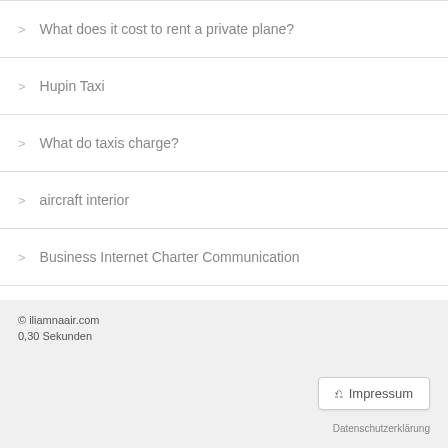What does it cost to rent a private plane?
Hupin Taxi
What do taxis charge?
aircraft interior
Business Internet Charter Communication
Low fares
Fly beetles
Taxi company nearby
Aircraft private charter services
© iliamnaair.com
0,30 Sekunden
Impressum
Datenschutzerklärung